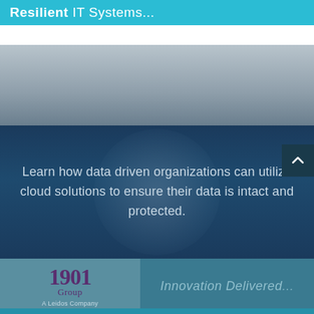Resilient IT Systems...
[Figure (illustration): Gray gradient background section representing a decorative visual area]
Learn how data driven organizations can utilize cloud solutions to ensure their data is intact and protected.
[Figure (logo): 1901 Group - A Leidos Company logo on teal background with tagline Innovation Delivered]